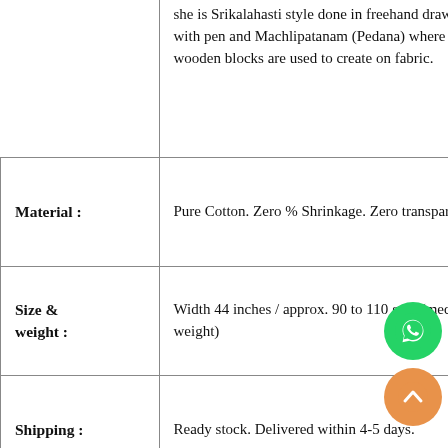|  |  |
| --- | --- |
|  | she is Srikalahasti style done in freehand drawing with pen and Machlipatanam (Pedana) where wooden blocks are used to create on fabric. |
| Material : | Pure Cotton. Zero % Shrinkage. Zero transparency. |
| Size & weight : | Width 44 inches / approx. 90 to 110 gms (medium weight) |
| Shipping : | Ready stock. Delivered within 4-5 days. |
| Wash care : | Gentle hand wash with mild liquid detergent in cold water. Do not soak. |